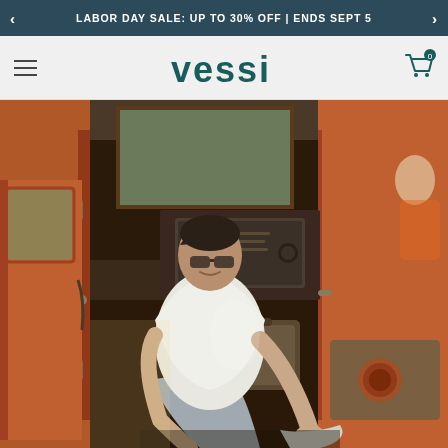LABOR DAY SALE: UP TO 30% OFF | ENDS SEPT 5
vessi
[Figure (photo): A person sitting in the open doorway of an orange camper van, putting on shoes. They are wearing a white t-shirt and gray pants. The interior of the van is visible behind them with vintage-style appliances.]